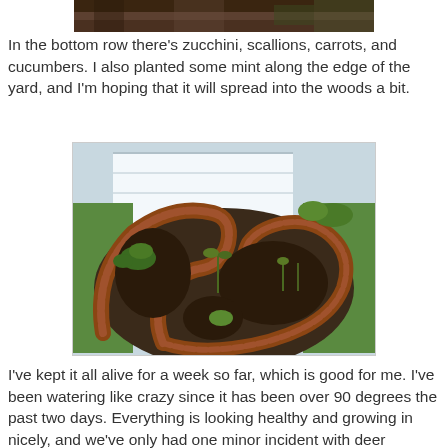[Figure (photo): Partial top view of a garden bed with dark soil, cropped at top of page]
In the bottom row there's zucchini, scallions, carrots, and cucumbers.  I also planted some mint along the edge of the yard, and I'm hoping that it will spread into the woods a bit.
[Figure (photo): Raised garden bed made of brick in a curved S-shape design, with young vegetable plants growing in dark soil, white shed and green grass visible in background]
I've kept it all alive for a week so far, which is good for me.  I've been watering like crazy since it has been over 90 degrees the past two days.  Everything is looking healthy and growing in nicely, and we've only had one minor incident with deer snacking.  I even have a few little tomatoes starting to grow.  I'm praying for lots and lots of home grown vegetables this summer!